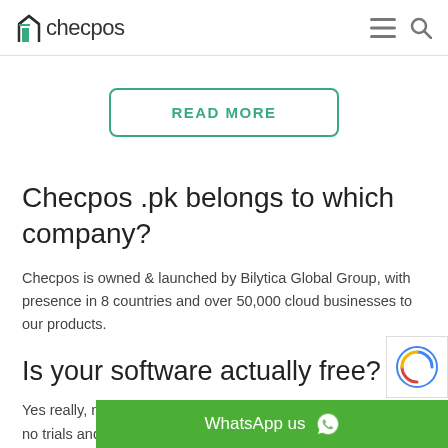checpos
READ MORE
Checpos .pk belongs to which company?
Checpos is owned & launched by Bilytica Global Group, with presence in 8 countries and over 50,000 cloud businesses to our products.
Is your software actually free?
Yes really, no tricks! no trials and no hidd…